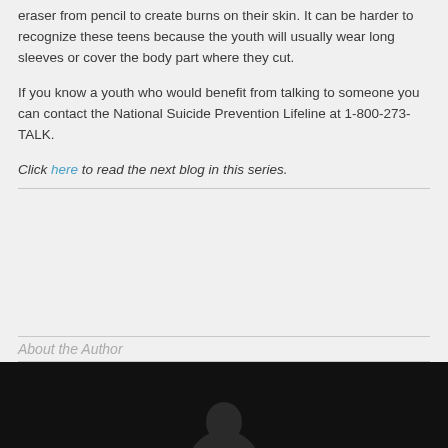eraser from pencil to create burns on their skin. It can be harder to recognize these teens because the youth will usually wear long sleeves or cover the body part where they cut.
If you know a youth who would benefit from talking to someone you can contact the National Suicide Prevention Lifeline at 1-800-273-TALK.
Click here to read the next blog in this series.
About the Author
[Figure (photo): Dark author portrait photo]